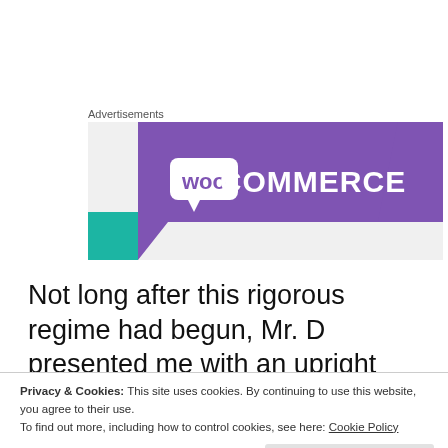Advertisements
[Figure (logo): WooCommerce advertisement banner — purple diagonal card with white WooCommerce logo on grey background with teal accent corner]
Not long after this rigorous regime had begun, Mr. D presented me with an upright alto horn. Actually, to say he “presented” me with a horn is rather overstated. For
Privacy & Cookies: This site uses cookies. By continuing to use this website, you agree to their use.
To find out more, including how to control cookies, see here: Cookie Policy
Close and accept
battered old upright with a slightly crumpled bell out of